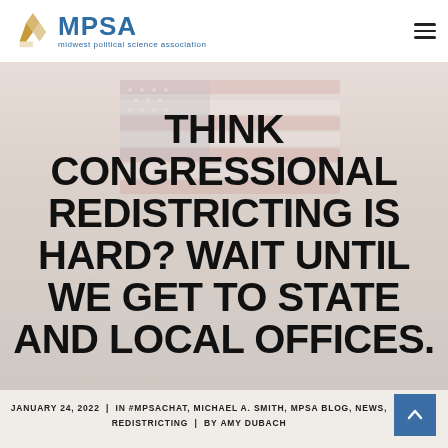MPSA — midwest political science association
[Figure (photo): Blurred background photo of US flag and voting booths with VOTE signs, light pinkish-beige tone]
THINK CONGRESSIONAL REDISTRICTING IS HARD? WAIT UNTIL WE GET TO STATE AND LOCAL OFFICES.
JANUARY 24, 2022  |  IN #MPSACHAT, MICHAEL A. SMITH, MPSA BLOG, NEWS, REDISTRICTING  |  BY AMY DUBACH